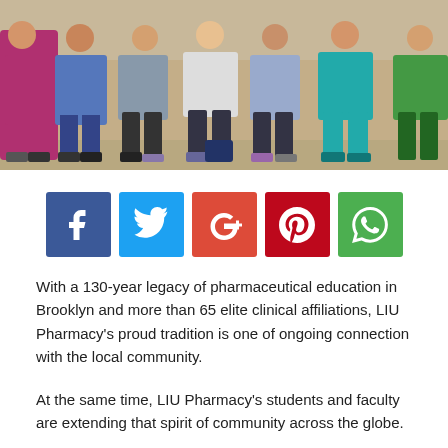[Figure (photo): Group photo of pharmacy students and faculty sitting together in scrubs outdoors]
[Figure (infographic): Row of five social media share buttons: Facebook, Twitter, Google+, Pinterest, WhatsApp]
With a 130-year legacy of pharmaceutical education in Brooklyn and more than 65 elite clinical affiliations, LIU Pharmacy's proud tradition is one of ongoing connection with the local community.
At the same time, LIU Pharmacy's students and faculty are extending that spirit of community across the globe.
In the coming year, LIU Pharmacy students will travel overseas